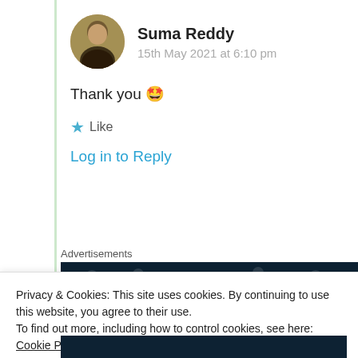Suma Reddy
15th May 2021 at 6:10 pm
Thank you 🤩
★ Like
Log in to Reply
Advertisements
[Figure (screenshot): Dark blue advertisement banner showing partial text 'Create surveys']
Privacy & Cookies: This site uses cookies. By continuing to use this website, you agree to their use.
To find out more, including how to control cookies, see here: Cookie Policy
Close and accept